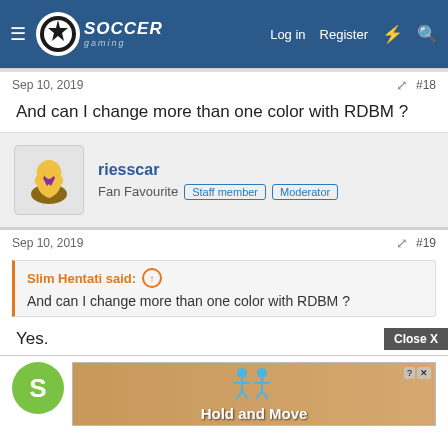Soccer Gaming — Log in | Register
Sep 10, 2019  #18
And can I change more than one color with RDBM ?
riesscar — Fan Favourite | Staff member | Moderator
Sep 10, 2019  #19
Slim Hentati said: And can I change more than one color with RDBM ?
Yes.
[Figure (screenshot): Advertisement banner showing 'Hold and Move' with cartoon figures, with Close X button overlay]